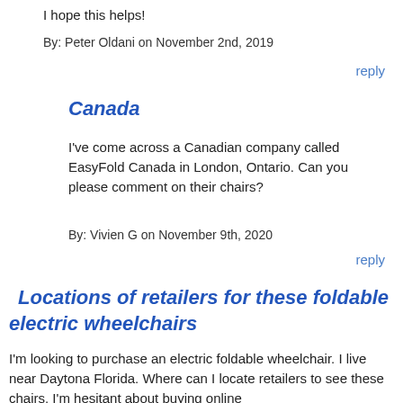I hope this helps!
By: Peter Oldani on November 2nd, 2019
reply
Canada
I've come across a Canadian company called EasyFold Canada in London, Ontario. Can you please comment on their chairs?
By: Vivien G on November 9th, 2020
reply
Locations of retailers for these foldable electric wheelchairs
I'm looking to purchase an electric foldable wheelchair. I live near Daytona Florida. Where can I locate retailers to see these chairs. I'm hesitant about buying online